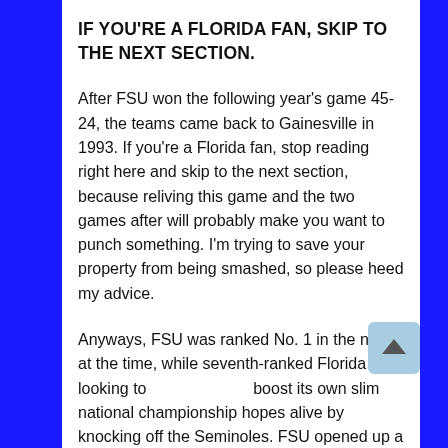IF YOU'RE A FLORIDA FAN, SKIP TO THE NEXT SECTION.
After FSU won the following year's game 45-24, the teams came back to Gainesville in 1993. If you're a Florida fan, stop reading right here and skip to the next section, because reliving this game and the two games after will probably make you want to punch something. I'm trying to save your property from being smashed, so please heed my advice.
Anyways, FSU was ranked No. 1 in the nation at the time, while seventh-ranked Florida was looking to boost its own slim national championship hopes alive by knocking off the Seminoles. FSU opened up a 27-7 lead after three quarters, but as soon as Steve Spurrier replaced the ineffective Danny Wuerffel with